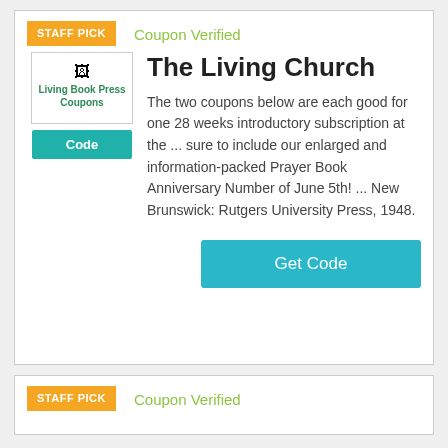STAFF PICK
Coupon Verified
[Figure (logo): Living Book Press Coupons logo placeholder image]
Code
The Living Church
The two coupons below are each good for one 28 weeks introductory subscription at the ... sure to include our enlarged and information-packed Prayer Book Anniversary Number of June 5th! ... New Brunswick: Rutgers University Press, 1948.
Get Code
STAFF PICK
Coupon Verified